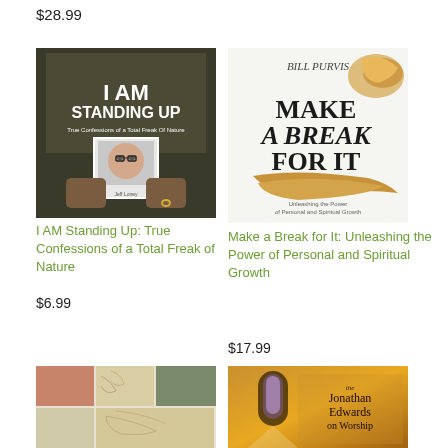$28.99
[Figure (photo): Book cover: I AM Standing Up - True Confessions of a Total Freak of Nature]
I AM Standing Up: True Confessions of a Total Freak of Nature
$6.99
[Figure (photo): Book cover: Make a Break for It: Unleashing the Power of Personal and Spiritual Growth by Bill Purvis]
Make a Break for It: Unleashing the Power of Personal and Spiritual Growth
$17.99
[Figure (photo): Book cover with patchwork quilt pattern squares in earthy tones]
[Figure (photo): Book cover: Jonathan Edwards on Worship - golden/amber toned church interior]